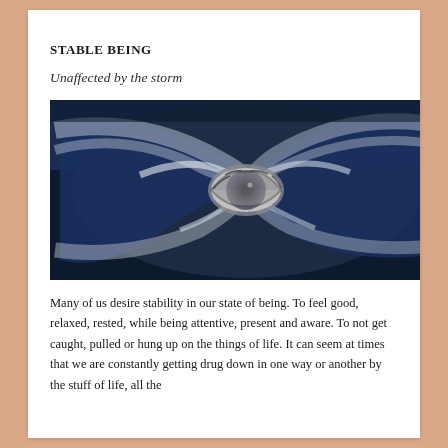STABLE BEING
Unaffected by the storm
[Figure (photo): Aerial photo of a swirling hurricane storm system with an eye at the center, composited with a close-up of a human eye at the center of the swirl. Blue, grey and white tones.]
Many of us desire stability in our state of being.  To feel good, relaxed, rested, while being attentive, present and aware.  To not get caught, pulled or hung up on the things of life.  It can seem at times that we are constantly getting drug down in one way or another by the stuff of life, all the